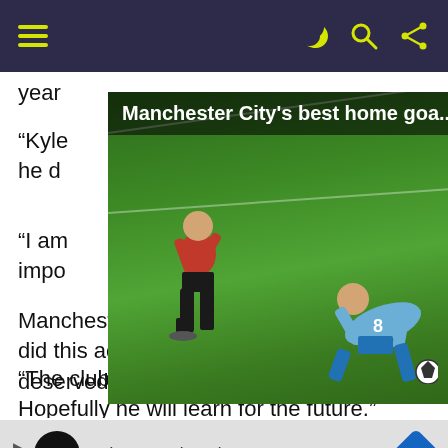Navigation bar with hamburger menu and icons
year
“Kyle [on], he d
[Figure (screenshot): Video overlay showing Manchester City's best home goals, with two soccer players on a green field - one in red (Manchester United) and one in blue (Manchester City), with a play button in the center.]
“I am impo
Manchester United? Against Leipzig he did this action when we had qualified, he deserved it.
“The club appealed, I do not agree. Hopefully he will learn for the future.”
[Figure (infographic): Yellow wavy line with a close (X) circle button on the right side]
[Figure (screenshot): Advertisement banner showing an infinity logo, checkmark, In-store shopping text, and a blue diamond navigation icon]